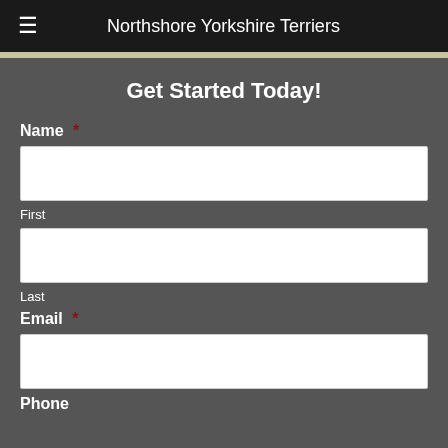≡  Northshore Yorkshire Terriers
Get Started Today!
Name *
First
Last
Email *
Phone